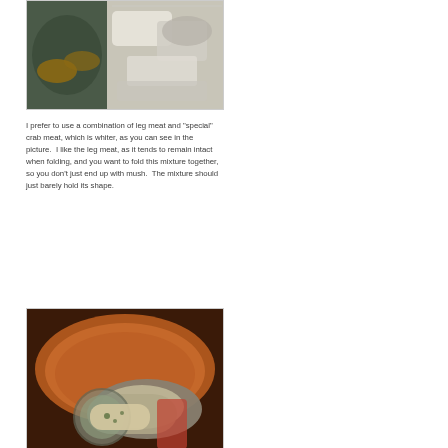[Figure (photo): Close-up photo of crab meat showing leg meat and white 'special' crab meat pieces on a surface]
I prefer to use a combination of leg meat and “special” crab meat, which is whiter, as you can see in the picture.  I like the leg meat, as it tends to remain intact when folding, and you want to fold this mixture together, so you don’t just end up with mush.  The mixture should just barely hold its shape.
[Figure (photo): Photo of a metal mixing bowl with a spoon scooping crab cake mixture with visible green onion flecks, on a dark background]